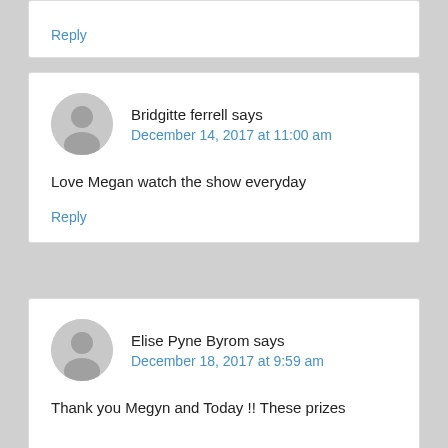Reply
Bridgitte ferrell says
December 14, 2017 at 11:00 am

Love Megan watch the show everyday

Reply
Elise Pyne Byrom says
December 18, 2017 at 9:59 am

Thank you Megyn and Today !! These prizes